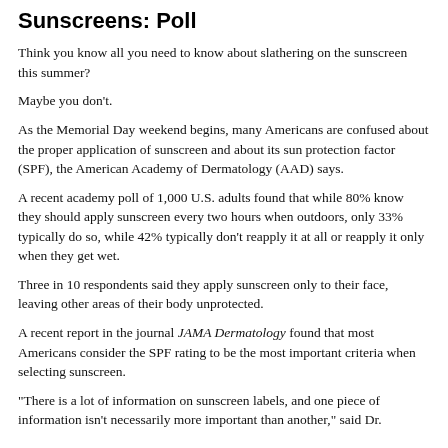Sunscreens: Poll
Think you know all you need to know about slathering on the sunscreen this summer?
Maybe you don't.
As the Memorial Day weekend begins, many Americans are confused about the proper application of sunscreen and about its sun protection factor (SPF), the American Academy of Dermatology (AAD) says.
A recent academy poll of 1,000 U.S. adults found that while 80% know they should apply sunscreen every two hours when outdoors, only 33% typically do so, while 42% typically don't reapply it at all or reapply it only when they get wet.
Three in 10 respondents said they apply sunscreen only to their face, leaving other areas of their body unprotected.
A recent report in the journal JAMA Dermatology found that most Americans consider the SPF rating to be the most important criteria when selecting sunscreen.
"There is a lot of information on sunscreen labels, and one piece of information isn't necessarily more important than another," said Dr.